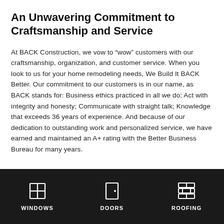An Unwavering Commitment to Craftsmanship and Service
At BACK Construction, we vow to “wow” customers with our craftsmanship, organization, and customer service. When you look to us for your home remodeling needs, We Build It BACK Better. Our commitment to our customers is in our name, as BACK stands for: Business ethics practiced in all we do; Act with integrity and honesty; Communicate with straight talk; Knowledge that exceeds 36 years of experience. And because of our dedication to outstanding work and personalized service, we have earned and maintained an A+ rating with the Better Business Bureau for many years.
WINDOWS   DOORS   ROOFING